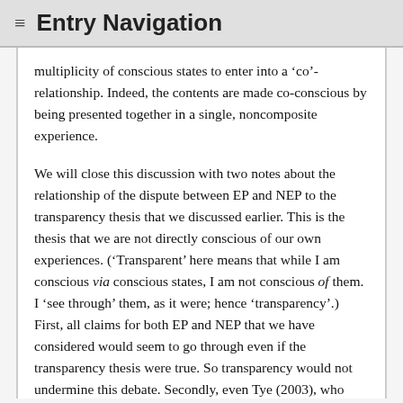≡ Entry Navigation
multiplicity of conscious states to enter into a 'co'-relationship. Indeed, the contents are made co-conscious by being presented together in a single, noncomposite experience.
We will close this discussion with two notes about the relationship of the dispute between EP and NEP to the transparency thesis that we discussed earlier. This is the thesis that we are not directly conscious of our own experiences. ('Transparent' here means that while I am conscious via conscious states, I am not conscious of them. I 'see through' them, as it were; hence 'transparency'.) First, all claims for both EP and NEP that we have considered would seem to go through even if the transparency thesis were true. So transparency would not undermine this debate. Secondly, even Tye (2003), who accepts both NEP and transparency, also accepts that NEP does not require or entail transparency. Rather, he seems to think that the transparency thesis is true and, since it is true, this constrains what could be unified in phenomenal